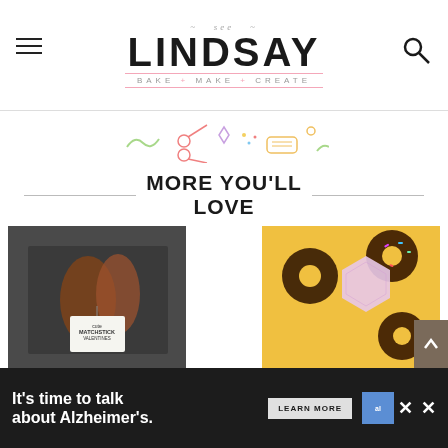see LINDSAY — BAKE + MAKE + CREATE
[Figure (illustration): Decorative colorful icons: scissors, measuring tape, and craft elements on a white background]
MORE YOU'LL LOVE
[Figure (photo): Cute Matchstick Valentines — pretzels with a gift tag tied with twine on a dark background]
CUTE KIDS
[Figure (photo): Cricut project — chocolate frosted donuts with sprinkles on a yellow background with a pink hexagonal paper]
CRICUT
It's time to talk about Alzheimer's. LEARN MORE
[Figure (logo): Alzheimer's Association logo]